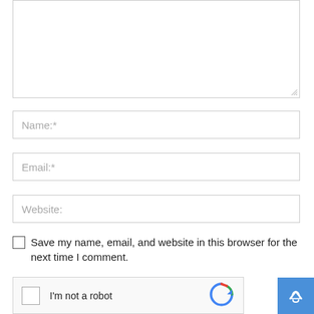[Figure (screenshot): Textarea input box (comment field), partially visible at top of page, with resize handle in bottom-right corner]
Name:*
Email:*
Website:
Save my name, email, and website in this browser for the next time I comment.
[Figure (screenshot): reCAPTCHA widget with checkbox and 'I'm not a robot' text and reCAPTCHA logo]
[Figure (screenshot): Blue notification/subscribe button with bell icon in bottom-right corner]